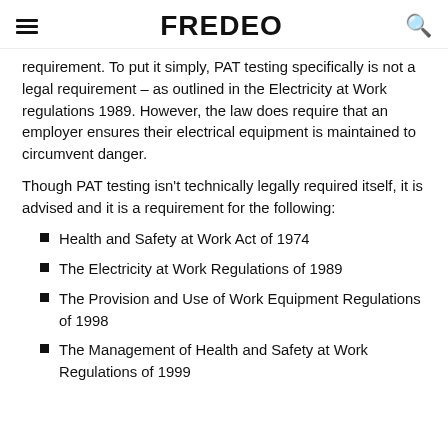FREDEO
requirement. To put it simply, PAT testing specifically is not a legal requirement – as outlined in the Electricity at Work regulations 1989. However, the law does require that an employer ensures their electrical equipment is maintained to circumvent danger.
Though PAT testing isn't technically legally required itself, it is advised and it is a requirement for the following:
Health and Safety at Work Act of 1974
The Electricity at Work Regulations of 1989
The Provision and Use of Work Equipment Regulations of 1998
The Management of Health and Safety at Work Regulations of 1999